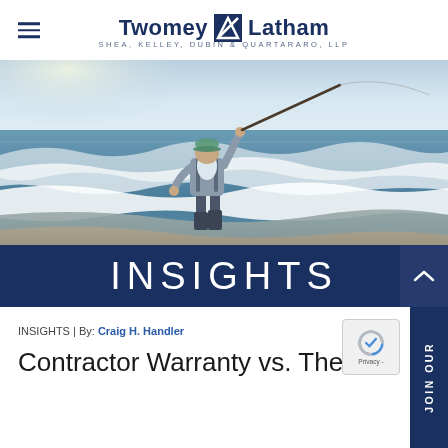Twomey Latham Shea, Kelley, Dubin & Quartararo, LLP
[Figure (photo): A person standing in ocean surf wearing waders and casting a fishing rod, viewed from behind, with waves and morning sky in background.]
INSIGHTS
INSIGHTS | By: Craig H. Handler
Contractor Warranty vs. The Guaranty of the Work...